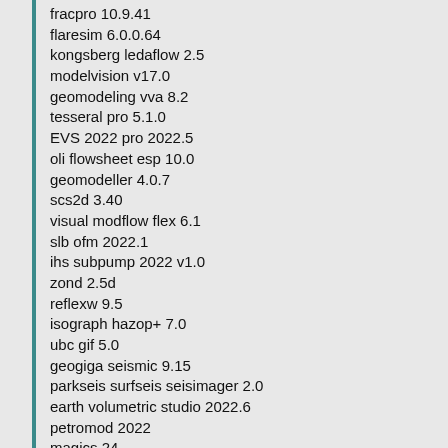fracpro 10.9.41
flaresim 6.0.0.64
kongsberg ledaflow 2.5
modelvision v17.0
geomodeling vva 8.2
tesseral pro 5.1.0
EVS 2022 pro 2022.5
oli flowsheet esp 10.0
geomodeller 4.0.7
scs2d 3.40
visual modflow flex 6.1
slb ofm 2022.1
ihs subpump 2022 v1.0
zond 2.5d
reflexw 9.5
isograph hazop+ 7.0
ubc gif 5.0
geogiga seismic 9.15
parkseis surfseis seisimager 2.0
earth volumetric studio 2022.6
petromod 2022
magics 24
whittle 4.7.1
maptek vulcan 10.1
stoner pipeline simulator SPS 10.4